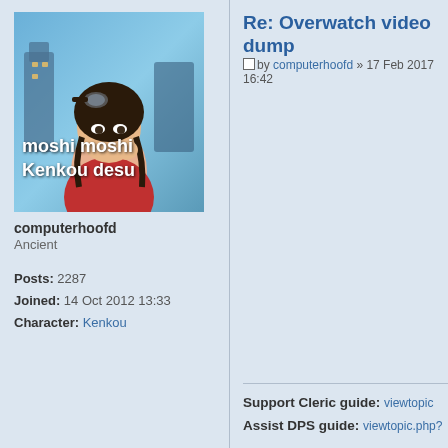[Figure (photo): Avatar image of a female anime/game character with goggles, dark hair in braids, wearing a red outfit, in a fantasy setting with text overlay 'moshi moshi Kenkou desu']
computerhoofd
Ancient

Posts: 2287
Joined: 14 Oct 2012 13:33
Character: Kenkou
Re: Overwatch video dump
by computerhoofd » 17 Feb 2017 16:42
Support Cleric guide: viewtopic
Assist DPS guide: viewtopic.php?